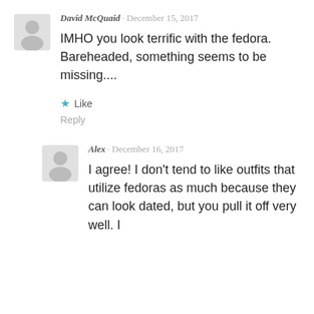[Figure (illustration): Gray user avatar icon for David McQuaid]
David McQuaid · December 15, 2017
IMHO you look terrific with the fedora. Bareheaded, something seems to be missing....
★ Like
Reply
[Figure (illustration): Gray user avatar icon for Alex]
Alex · December 16, 2017
I agree! I don't tend to like outfits that utilize fedoras as much because they can look dated, but you pull it off very well. I